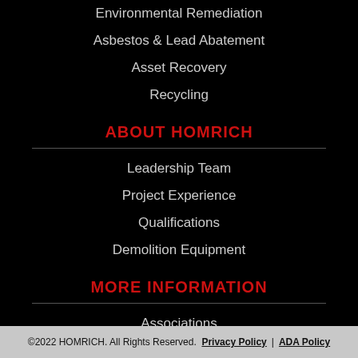Environmental Remediation
Asbestos & Lead Abatement
Asset Recovery
Recycling
ABOUT HOMRICH
Leadership Team
Project Experience
Qualifications
Demolition Equipment
MORE INFORMATION
Associations
Safety
Careers
Contact Us
©2022 HOMRICH. All Rights Reserved.  Privacy Policy  |  ADA Policy